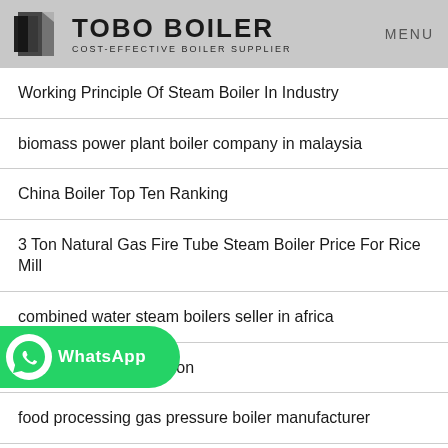TOBO BOILER — COST-EFFECTIVE BOILER SUPPLIER | MENU
Working Principle Of Steam Boiler In Industry
biomass power plant boiler company in malaysia
China Boiler Top Ten Ranking
3 Ton Natural Gas Fire Tube Steam Boiler Price For Rice Mill
combined water steam boilers seller in africa
Complete Boiler Solution
food processing gas pressure boiler manufacturer